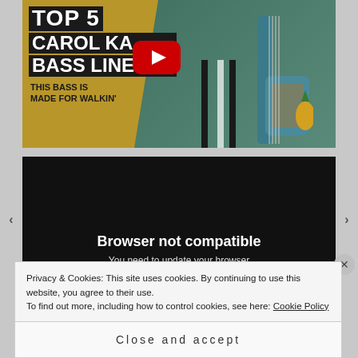[Figure (screenshot): YouTube video thumbnail showing 'TOP 5 CAROL KAYE BASS LINES - THIS BASS IS MADE FOR WALKIN' with a woman holding a teal bass guitar, YouTube play button overlay]
[Figure (screenshot): Embedded video player showing 'Browser not compatible' message on black background]
Privacy & Cookies: This site uses cookies. By continuing to use this website, you agree to their use.
To find out more, including how to control cookies, see here: Cookie Policy
Close and accept